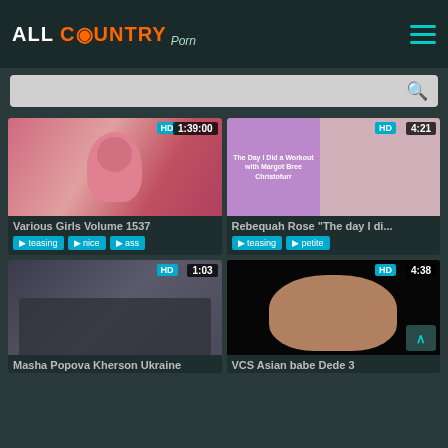All Country Porn
[Figure (screenshot): Website screenshot of allcountryporn.com showing video thumbnails grid]
Various Girls Volume 1537
teasing  nice  ass
Rebequah Rose "The day I di..."
teasing  petite
Masha Popova Kherson Ukraine
VCS Asian babe Dede 3